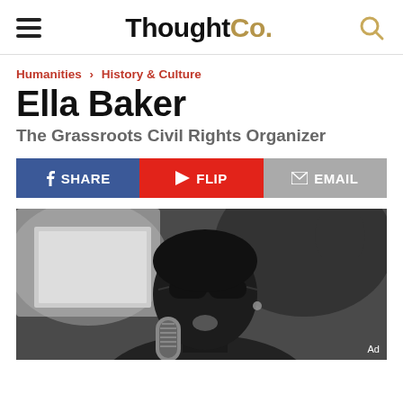ThoughtCo.
Humanities > History & Culture
Ella Baker
The Grassroots Civil Rights Organizer
SHARE | FLIP | EMAIL
[Figure (photo): Black and white photograph of a woman wearing sunglasses speaking into a vintage microphone, with a raised fist visible in the background]